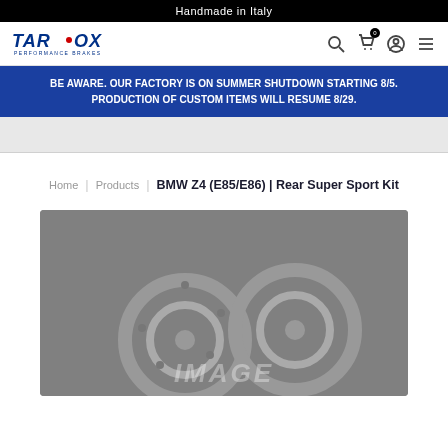Handmade in Italy
[Figure (logo): TAROX Performance Brakes logo in blue with red dot]
BE AWARE. OUR FACTORY IS ON SUMMER SHUTDOWN STARTING 8/5. PRODUCTION OF CUSTOM ITEMS WILL RESUME 8/29.
Home | Products | BMW Z4 (E85/E86) | Rear Super Sport Kit
[Figure (photo): Product image placeholder showing brake disc/kit components for BMW Z4 Rear Super Sport Kit with IMAGE text overlay]